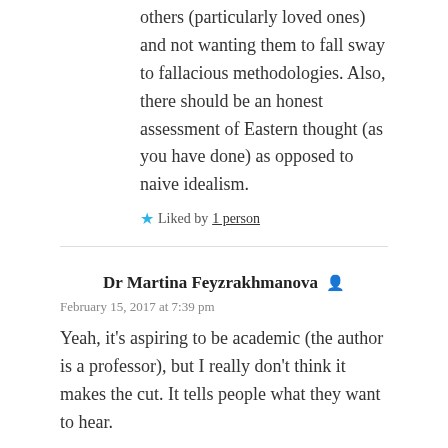others (particularly loved ones) and not wanting them to fall sway to fallacious methodologies. Also, there should be an honest assessment of Eastern thought (as you have done) as opposed to naive idealism.
★ Liked by 1 person
Dr Martina Feyzrakhmanova 🔒
February 15, 2017 at 7:39 pm
Yeah, it's aspiring to be academic (the author is a professor), but I really don't think it makes the cut. It tells people what they want to hear.
★ Liked by 1 person
Major Styles